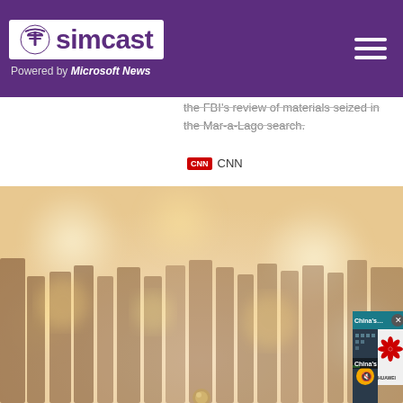simcast — Powered by Microsoft News
the FBI's review of materials seized in the Mar-a-Lago search.
CNN
[Figure (screenshot): Video popup panel showing 'China's Massive Tech Layoffs' with Huawei logo image and close/mute controls]
This we... We use them to give you the be... will assume that you are...
Co...
[Figure (photo): Background bokeh photo with blurred warm tones, decorative element at bottom center]